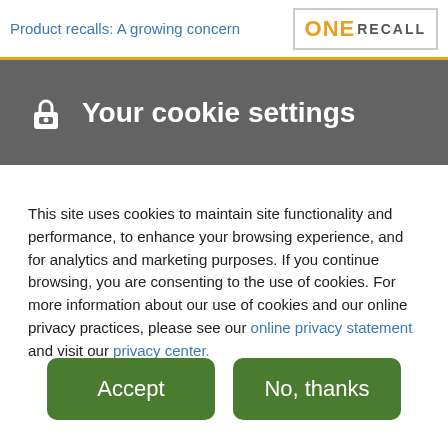Product recalls: A growing concern
Your cookie settings
This site uses cookies to maintain site functionality and performance, to enhance your browsing experience, and for analytics and marketing purposes. If you continue browsing, you are consenting to the use of cookies. For more information about our use of cookies and our online privacy practices, please see our online privacy statement and visit our privacy center.
Accept
No, thanks